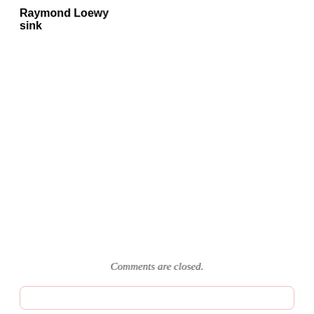Raymond Loewy sink
Comments are closed.